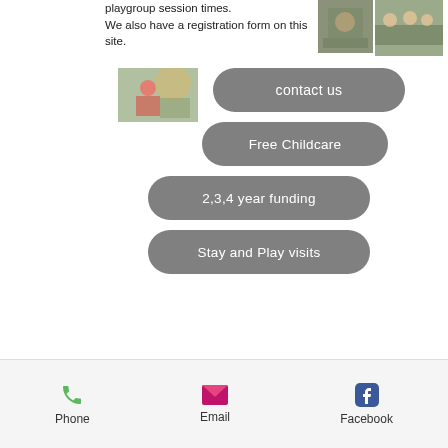playgroup session times. We also have a registration form on this site.
[Figure (photo): Photo of children playing outdoors on climbing structure]
[Figure (photo): Photo of children and adults in outdoor activity]
[Figure (photo): Photo of child playing with colourful gear toys]
contact us
Free Childcare
2,3,4 year funding
Stay and Play visits
Phone  Email  Facebook